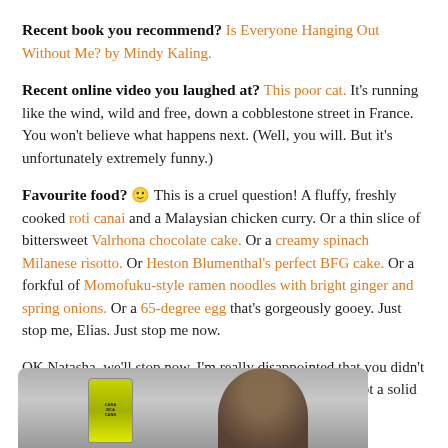Recent book you recommend? Is Everyone Hanging Out Without Me? by Mindy Kaling.
Recent online video you laughed at? This poor cat. It's running like the wind, wild and free, down a cobblestone street in France. You won't believe what happens next. (Well, you will. But it's unfortunately extremely funny.)
Favourite food? 🙂 This is a cruel question! A fluffy, freshly cooked roti canai and a Malaysian chicken curry. Or a thin slice of bittersweet Valrhona chocolate cake. Or a creamy spinach Milanese risotto. Or Heston Blumenthal's perfect BFG cake. Or a forkful of Momofuku-style ramen noodles with bright ginger and spring onions. Or a 65-degree egg that's gorgeously gooey. Just stop me, Elias. Just stop me now.
OK Natasha, we'll stop now. I'm really disappointed that you didn't mention Lime-flavoured milk, although technically it's not a solid food, so I will let it pass! 🙂
[Figure (photo): Photo of a person holding a green can (Carabao energy drink), shown from below, with the person's face partially visible in background]